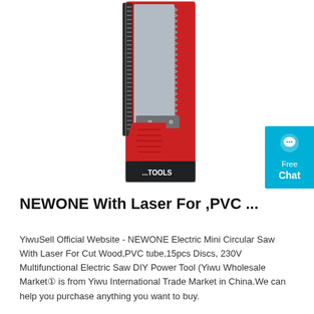[Figure (photo): Product photo of a hand saw / mini circular saw with red handle and black blade in retail packaging, brand label visible at bottom reading '...TOOLS']
NEWONE With Laser For ,PVC ...
YiwuSell Official Website - NEWONE Electric Mini Circular Saw With Laser For Cut Wood,PVC tube,15pcs Discs, 230V Multifunctional Electric Saw DIY Power Tool (Yiwu Wholesale Market① is from Yiwu International Trade Market in China.We can help you purchase anything you want to buy.